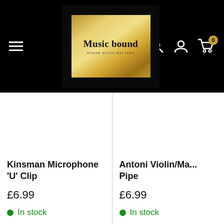[Figure (logo): Music bound logo — gold square with black text on black background header]
Kinsman Microphone 'U' Clip
£6.99
In stock
Antoni Violin/Ma... Pipe
£6.99
In stock